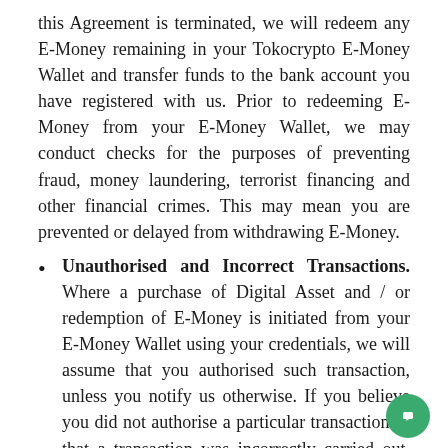this Agreement is terminated, we will redeem any E-Money remaining in your Tokocrypto E-Money Wallet and transfer funds to the bank account you have registered with us. Prior to redeeming E-Money from your E-Money Wallet, we may conduct checks for the purposes of preventing fraud, money laundering, terrorist financing and other financial crimes. This may mean you are prevented or delayed from withdrawing E-Money.
Unauthorised and Incorrect Transactions. Where a purchase of Digital Asset and / or redemption of E-Money is initiated from your E-Money Wallet using your credentials, we will assume that you authorised such transaction, unless you notify us otherwise. If you believe you did not authorise a particular transaction or that a transaction was incorrectly carried out, you must contact us as soon as possible and in any case no later than 13 months after the relevant transaction occurred.